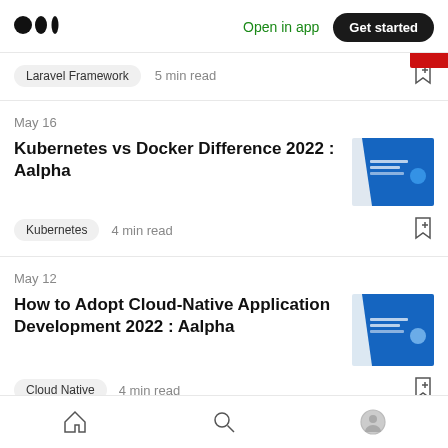Medium logo | Open in app | Get started
Laravel Framework  5 min read
May 16
Kubernetes vs Docker Difference 2022 : Aalpha
Kubernetes  4 min read
May 12
How to Adopt Cloud-Native Application Development 2022 : Aalpha
Cloud Native  4 min read
Home | Search | Profile